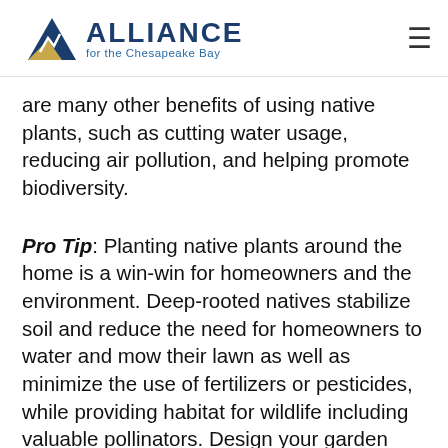[Figure (logo): Alliance for the Chesapeake Bay logo with mountain/water triangle graphic and text]
are many other benefits of using native plants, such as cutting water usage, reducing air pollution, and helping promote biodiversity.
Pro Tip: Planting native plants around the home is a win-win for homeowners and the environment. Deep-rooted natives stabilize soil and reduce the need for homeowners to water and mow their lawn as well as minimize the use of fertilizers or pesticides, while providing habitat for wildlife including valuable pollinators. Design your garden around your goals, from attracting butterflies to better infiltrating standing water, and enjoy watching it grow and flourish. — Jamie Alberti